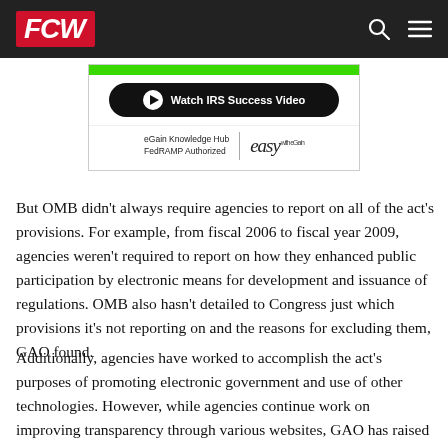FCW
[Figure (advertisement): eGain Knowledge Hub FedRAMP Authorized advertisement with 'Watch IRS Success Video' button on dark background with green bar, and 'easy with eGain' branding]
But OMB didn't always require agencies to report on all of the act's provisions. For example, from fiscal 2006 to fiscal year 2009, agencies weren't required to report on how they enhanced public participation by electronic means for development and issuance of regulations. OMB also hasn't detailed to Congress just which provisions it's not reporting on and the reasons for excluding them, GAO found.
Additionally, agencies have worked to accomplish the act's purposes of promoting electronic government and use of other technologies. However, while agencies continue work on improving transparency through various websites, GAO has raised concerns with the